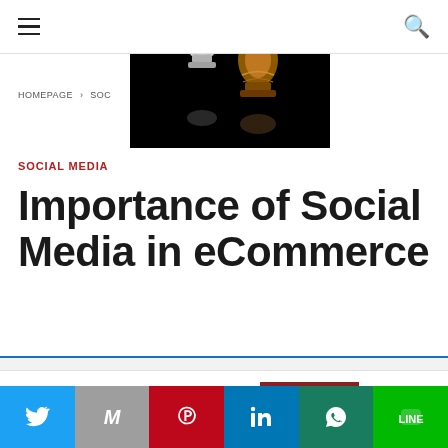Navigation bar with hamburger menu and search icon
[Figure (photo): Close-up photo of metallic chess pieces (silver and gold/copper colored) on black background]
HOMEPAGE > SOC...
SOCIAL MEDIA
Importance of Social Media in eCommerce
This website uses cookies.
Social share buttons: Twitter, Gmail, Pinterest, LinkedIn, WhatsApp, Line